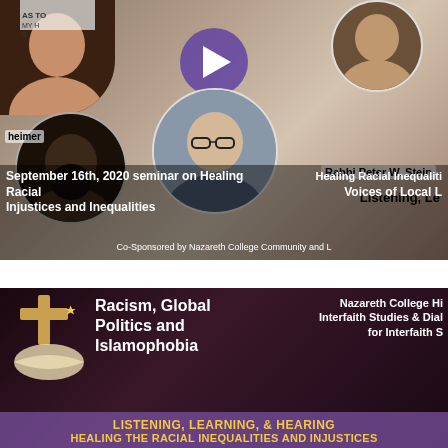[Figure (screenshot): Video thumbnail for September 16th, 2020 seminar on Healing Racial Injustices and Inequalities. Shows multiple circular portrait photos of participants including Rabbi Peter W. Stein, plus a purple play button overlay. Text overlays include 'Listening, Le...', 'Healing Racial Inequalities', 'Voices of Local...', 'Co-Sponsored by Nazareth College Community and...' Labels: 'heimer' on left, 'Rabbi Peter W. Stein' on right.]
September 16th, 2020 seminar on Healing Racial Injustices and Inequalities
[Figure (screenshot): Video thumbnail with dark maroon/purple background featuring religious symbols (cross, crescent moon and star). Text reads 'Racism, Global Politics and Islamophobia' on left, and 'Nazareth College Hi... Interfaith Studies & Dial... for Interfaith...' on right. Bottom bar in purple with gold text: 'LISTENING, LEARNING, & HEARING' and 'HEALING THE RACIAL INEQUALITIES AND INJUSTICES']